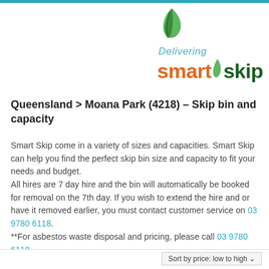[Figure (logo): Delivering Smart Skip logo with green leaf icon, 'Delivering' in italic blue, 'smart' in orange bold, 'skip' in dark green bold]
Queensland > Moana Park (4218) – Skip bin and capacity
Smart Skip come in a variety of sizes and capacities. Smart Skip can help you find the perfect skip bin size and capacity to fit your needs and budget.
All hires are 7 day hire and the bin will automatically be booked for removal on the 7th day. If you wish to extend the hire and or have it removed earlier, you must contact customer service on 03 9780 6118.
**For asbestos waste disposal and pricing, please call 03 9780 6118
Sort by price: low to high